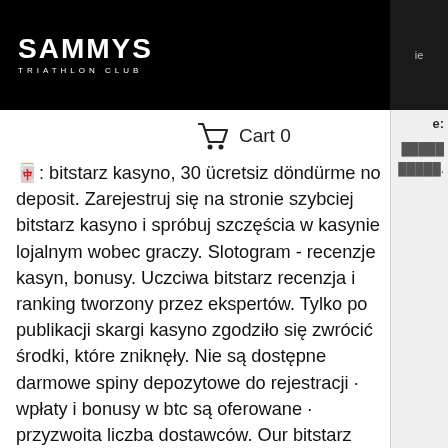SAMMYS TRIATHLON CLUB
Cart 0
🀄: bitstarz kasyno, 30 ücretsiz döndürme no deposit. Zarejestruj się na stronie szybciej bitstarz kasyno i spróbuj szczęścia w kasynie lojalnym wobec graczy. Slotogram - recenzje kasyn, bonusy. Uczciwa bitstarz recenzja i ranking tworzony przez ekspertów. Tylko po publikacji skargi kasyno zgodziło się zwrócić środki, które zniknęły. Nie są dostępne darmowe spiny depozytowe do rejestracji · wpłaty i bonusy w btc są oferowane · przyzwoita liczba dostawców. Our bitstarz review looks at the different aspects of the bitstarz casino offering, with cryptocurrency gambling &amp; attractive signup. Opinie o kasynie online bitstarz. Aktualne bonusy, kody